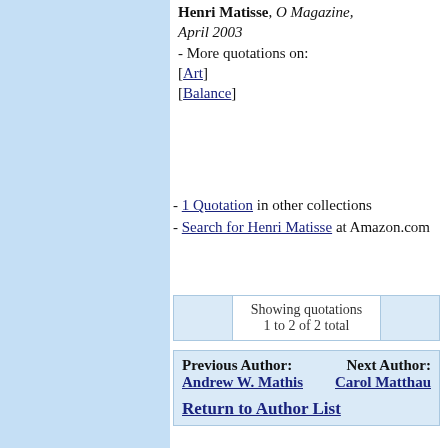Henri Matisse, O Magazine, April 2003 - More quotations on: [Art] [Balance]
- 1 Quotation in other collections - Search for Henri Matisse at Amazon.com
|  | Showing quotations
1 to 2 of 2 total |  |
Previous Author: Andrew W. Mathis  Next Author: Carol Matthau
Return to Author List